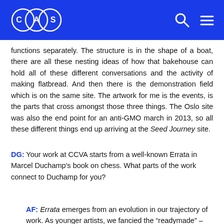CAS logo with search and menu icons
functions separately. The structure is in the shape of a boat, there are all these nesting ideas of how that bakehouse can hold all of these different conversations and the activity of making flatbread. And then there is the demonstration field which is on the same site. The artwork for me is the events, is the parts that cross amongst those three things. The Oslo site was also the end point for an anti-GMO march in 2013, so all these different things end up arriving at the Seed Journey site.
DG: Your work at CCVA starts from a well-known Errata in Marcel Duchamp's book on chess. What parts of the work connect to Duchamp for you?
AF: Errata emerges from an evolution in our trajectory of work. As younger artists, we fancied the "readymade" – this idea of taking something from everyday life and putting it on a pedestal and calling it art. This was